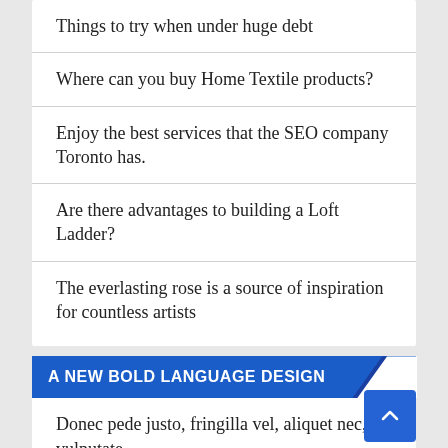Things to try when under huge debt
Where can you buy Home Textile products?
Enjoy the best services that the SEO company Toronto has.
Are there advantages to building a Loft Ladder?
The everlasting rose is a source of inspiration for countless artists
A NEW BOLD LANGUAGE DESIGN
Donec pede justo, fringilla vel, aliquet nec, vulputate